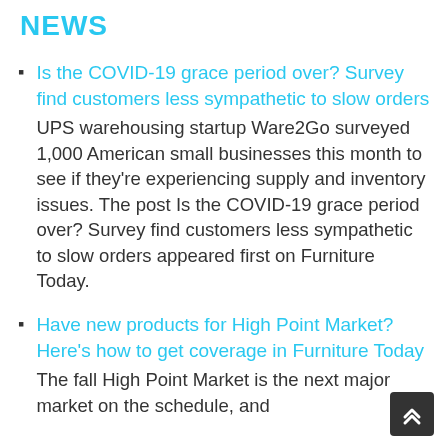NEWS
Is the COVID-19 grace period over? Survey find customers less sympathetic to slow orders
UPS warehousing startup Ware2Go surveyed 1,000 American small businesses this month to see if they're experiencing supply and inventory issues. The post Is the COVID-19 grace period over? Survey find customers less sympathetic to slow orders appeared first on Furniture Today.
Have new products for High Point Market? Here's how to get coverage in Furniture Today
The fall High Point Market is the next major market on the schedule, and